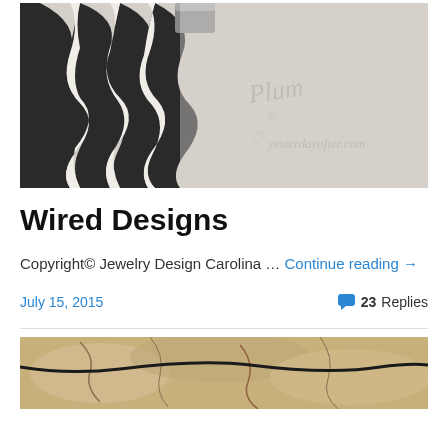[Figure (photo): Close-up photo of a zebra-print pen or jewelry piece with black and white stripes, with a watermark reading 'yesterdayafter.com' in script font]
Wired Designs
Copyright© Jewelry Design Carolina … Continue reading →
July 15, 2015   💬 23 Replies
[Figure (photo): Partial photo of a necklace with stones on a textured beige/tan background, cut off at bottom]